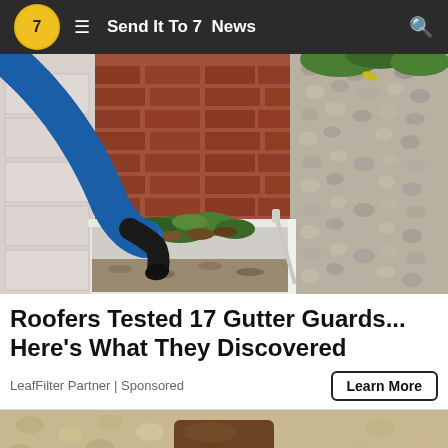Send It To 7  News
[Figure (photo): A blue vacuum hose being inserted into a clogged gutter full of leaves and debris, with a white gutter trough and stone wall visible]
Roofers Tested 17 Gutter Guards... Here's What They Discovered
LeafFilter Partner | Sponsored
[Figure (photo): Partial view of a person wearing a brown cowboy hat against a textured beige/tan wall background]